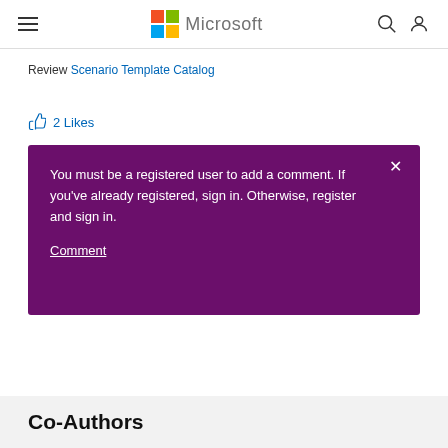Microsoft
Review Scenario Template Catalog
2 Likes
[Figure (screenshot): Purple modal popup with text: You must be a registered user to add a comment. If you've already registered, sign in. Otherwise, register and sign in. With a 'Comment' link and close (X) button.]
Co-Authors